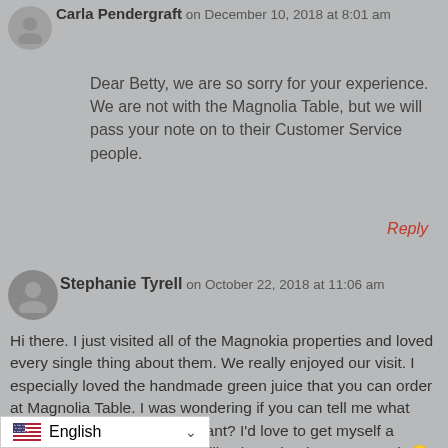Carla Pendergraft on December 10, 2018 at 8:01 am
Dear Betty, we are so sorry for your experience. We are not with the Magnolia Table, but we will pass your note on to their Customer Service people.
Reply
Stephanie Tyrell on October 22, 2018 at 11:06 am
Hi there. I just visited all of the Magnokia properties and loved every single thing about them. We really enjoyed our visit. I especially loved the handmade green juice that you can order at Magnolia Table. I was wondering if you can tell me what juicer they use at the restaurant? I'd love to get myself a commercial juicer that juices like that. Thank you so much 🙂
English